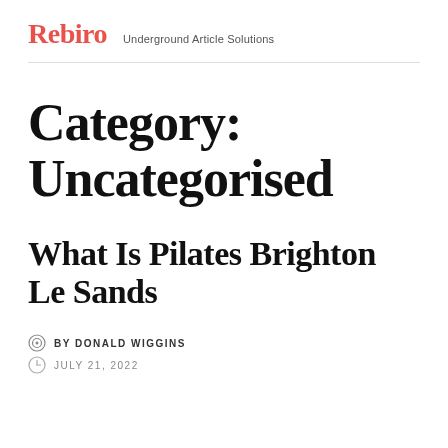Rebiro  Underground Article Solutions
Category: Uncategorised
What Is Pilates Brighton Le Sands
BY DONALD WIGGINS
JULY 21, 2022